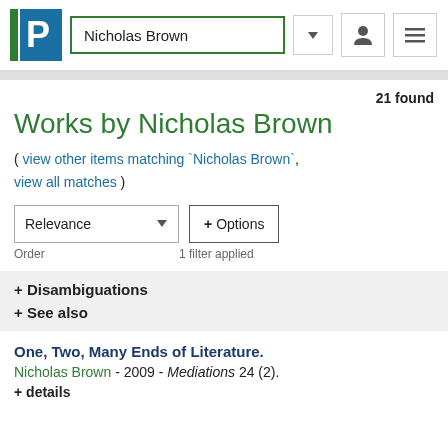Nicholas Brown
21 found
Works by Nicholas Brown
( view other items matching `Nicholas Brown`, view all matches )
Relevance  + Options
Order  1 filter applied
+ Disambiguations
+ See also
One, Two, Many Ends of Literature.
Nicholas Brown - 2009 - Mediations 24 (2).
+ details